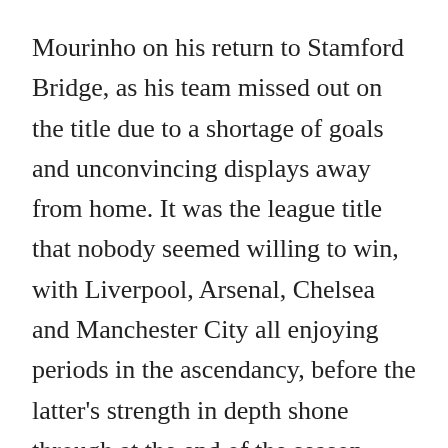Mourinho on his return to Stamford Bridge, as his team missed out on the title due to a shortage of goals and unconvincing displays away from home. It was the league title that nobody seemed willing to win, with Liverpool, Arsenal, Chelsea and Manchester City all enjoying periods in the ascendancy, before the latter's strength in depth shone through at the end of the season. Nevertheless, their alarming inconsistency and worrying over-reliance on a couple of key players are problems that have plagued City throughout 2014, continuing from last season into this one.
Liverpool, having gone sixteen games without defeat at the start of 2014, eventually ran out of